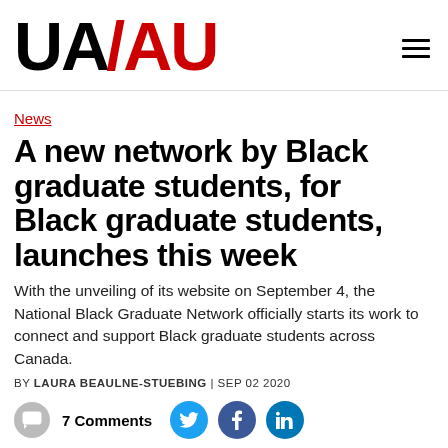UA/AU
News
A new network by Black graduate students, for Black graduate students, launches this week
With the unveiling of its website on September 4, the National Black Graduate Network officially starts its work to connect and support Black graduate students across Canada.
BY LAURA BEAULNE-STUEBING | SEP 02 2020
7 Comments
Graduate studies can be a challenging, disconnected and